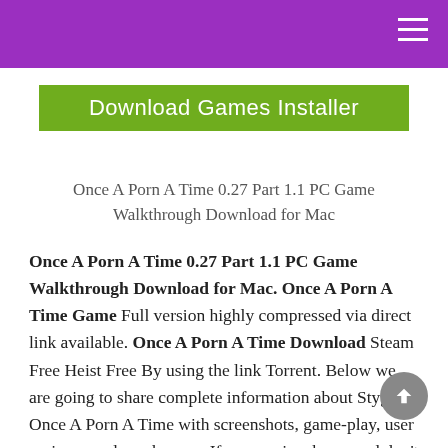[Figure (logo): Green banner with white text reading 'Download Games Installer']
Once A Porn A Time 0.27 Part 1.1 PC Game Walkthrough Download for Mac
Once A Porn A Time 0.27 Part 1.1 PC Game Walkthrough Download for Mac. Once A Porn A Time Game Full version highly compressed via direct link available. Once A Porn A Time Download Steam Free Heist Free By using the link Torrent. Below we are going to share complete information about Stygian Once A Porn A Time with screenshots, game-play, user reviews, and much more. If you are in a hurry and don't want to read